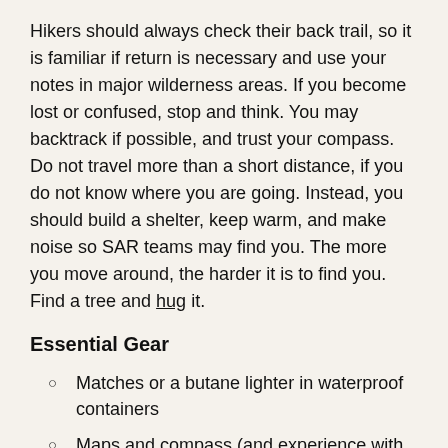Hikers should always check their back trail, so it is familiar if return is necessary and use your notes in major wilderness areas. If you become lost or confused, stop and think. You may backtrack if possible, and trust your compass. Do not travel more than a short distance, if you do not know where you are going. Instead, you should build a shelter, keep warm, and make noise so SAR teams may find you. The more you move around, the harder it is to find you. Find a tree and hug it.
Essential Gear
Matches or a butane lighter in waterproof containers
Maps and compass (and experience with using them)
Extra clothing (dress in dry layers)
Water